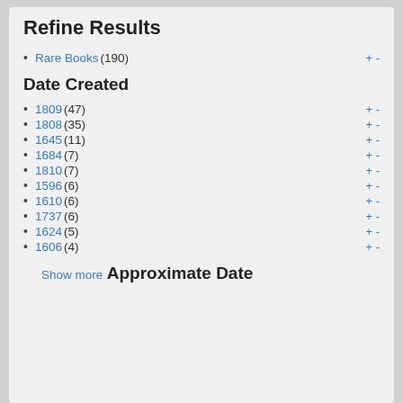Refine Results
Rare Books (190)
Date Created
1809 (47)
1808 (35)
1645 (11)
1684 (7)
1810 (7)
1596 (6)
1610 (6)
1737 (6)
1624 (5)
1606 (4)
Show more
Approximate Date